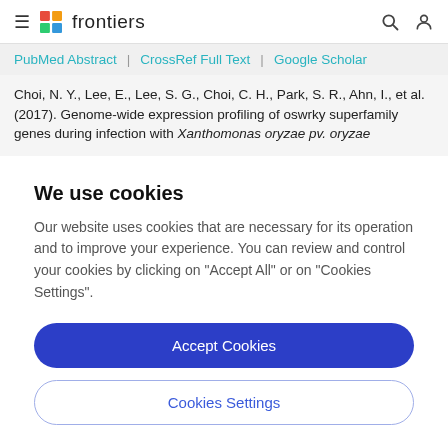frontiers
PubMed Abstract | CrossRef Full Text | Google Scholar
Choi, N. Y., Lee, E., Lee, S. G., Choi, C. H., Park, S. R., Ahn, I., et al. (2017). Genome-wide expression profiling of oswrky superfamily genes during infection with Xanthomonas oryzae pv. oryzae
We use cookies
Our website uses cookies that are necessary for its operation and to improve your experience. You can review and control your cookies by clicking on "Accept All" or on "Cookies Settings".
Accept Cookies
Cookies Settings